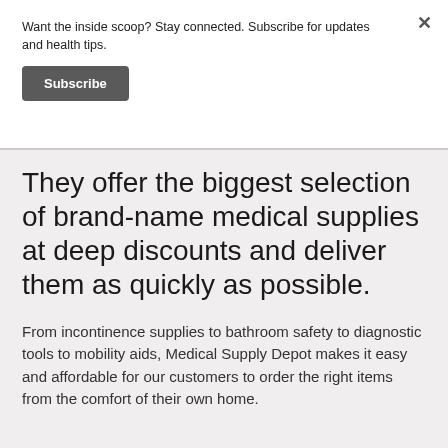Want the inside scoop? Stay connected. Subscribe for updates and health tips.
Subscribe
They offer the biggest selection of brand-name medical supplies at deep discounts and deliver them as quickly as possible.
From incontinence supplies to bathroom safety to diagnostic tools to mobility aids, Medical Supply Depot makes it easy and affordable for our customers to order the right items from the comfort of their own home.